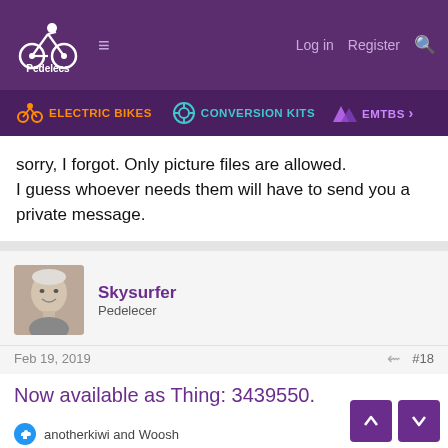Pedelecs — Log in  Register
ELECTRIC BIKES   CONVERSION KITS   EMTBS
sorry, I forgot. Only picture files are allowed.
I guess whoever needs them will have to send you a private message.
Skysurfer
Pedelecer
Feb 19, 2019  #18
Now available as Thing: 3439550.
anotherkiwi and Woosh